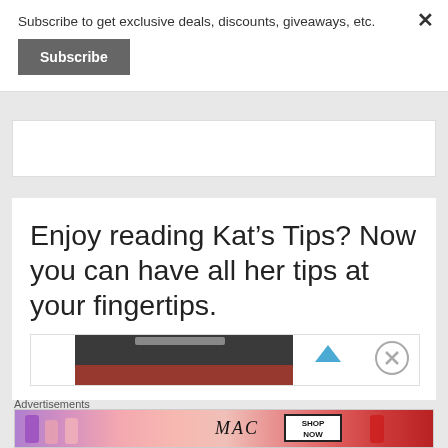Subscribe to get exclusive deals, discounts, giveaways, etc.
Subscribe
×
Enjoy reading Kat’s Tips? Now you can have all her tips at your fingertips.
[Figure (screenshot): Partial image strip showing a dark/black surface at the top of a product photo]
Advertisements
[Figure (screenshot): MAC cosmetics advertisement banner showing lipsticks in purple, pink, and red shades with MAC logo and SHOP NOW box]